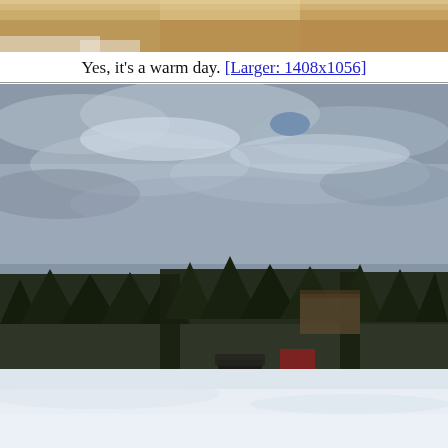[Figure (photo): Top portion of a photo showing warm sandy/earthy tones, cropped at top of page]
Yes, it's a warm day. [Larger: 1408x1056]
[Figure (photo): Winter landscape photo showing a snow-covered field in the foreground, a row of dark evergreen trees in the middle distance, a small dark structure (possibly a vehicle or building) and a sign near the trees, and an overcast cloudy sky filling the upper portion of the image]